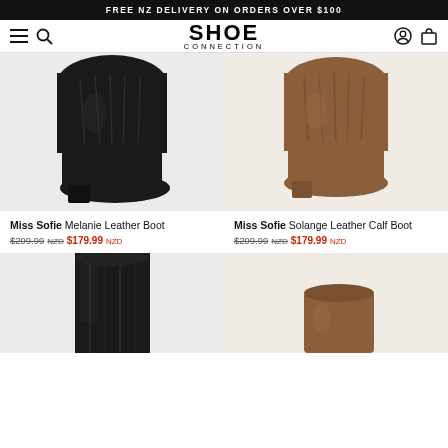FREE NZ DELIVERY ON ORDERS OVER $100
[Figure (logo): Shoe Connection logo with hamburger menu, search icon, account icon, and shopping bag icon]
[Figure (photo): Black leather tall boot - Miss Sofie Melanie Leather Boot]
[Figure (photo): Tan/cognac leather calf boot - Miss Sofie Solange Leather Calf Boot]
Miss Sofie Melanie Leather Boot $299.99 NZD $179.99 NZD
Miss Sofie Solange Leather Calf Boot $299.99 NZD $179.99 NZD
[Figure (photo): Black tall leather boot (bottom row left)]
[Figure (photo): Tan leather ankle boot (bottom row right)]